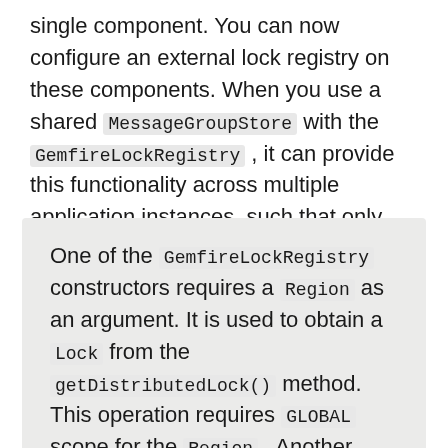single component. You can now configure an external lock registry on these components. When you use a shared MessageGroupStore with the GemfireLockRegistry , it can provide this functionality across multiple application instances, such that only one instance can manipulate the group at a time.
One of the GemfireLockRegistry constructors requires a Region as an argument. It is used to obtain a Lock from the getDistributedLock() method. This operation requires GLOBAL scope for the Region . Another constructor requires a Cache , and the Region is created with GLOBAL scope and with the name, LockRegistry .